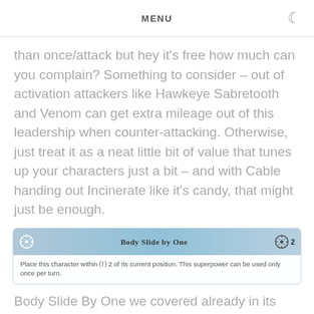MENU
than once/attack but hey it's free how much can you complain? Something to consider – out of activation attackers like Hawkeye Sabretooth and Venom can get extra mileage out of this leadership when counter-attacking. Otherwise, just treat it as a neat little bit of value that tunes up your characters just a bit – and with Cable handing out Incinerate like it's candy, that might just be enough.
[Figure (screenshot): Game card showing 'Body Slide by One' superpower with crosshair icons and cost of 2. Card text: Place this character within 2 of its current position. This superpower can be used only once per turn.]
Body Slide By One we covered already in its spiciest use-case with Askani'Son, but this is just a solid